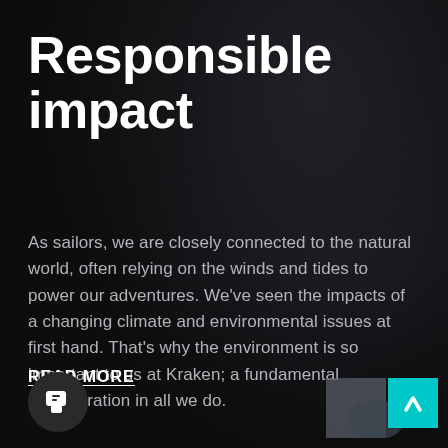Responsible impact
As sailors, we are closely connected to the natural world, often relying on the winds and tides to power our adventures. We've seen the impacts of a changing climate and environmental issues at first hand. That's why the environment is so important to us at Kraken; a fundamental consideration in all we do.
READ MORE
[Figure (illustration): Dark circular chat button with speech bubble icon at bottom left]
[Figure (illustration): Teal/cyan scroll-to-top button with upward chevron arrow at bottom right, with partially visible decorative image behind it]